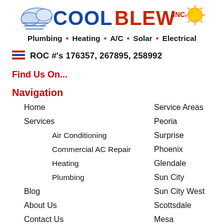[Figure (logo): Cool Blew Inc. logo with blue wind/cloud graphic on left and yellow sun on right, text 'COOL BLEW INC.' in bold red and blue block letters]
Plumbing • Heating • A/C • Solar • Electrical
ROC #'s 176357, 267895, 258992
Find Us On...
Navigation
Home
Service Areas
Services
Peoria
Air Conditioning
Surprise
Commercial AC Repair
Phoenix
Heating
Glendale
Plumbing
Sun City
Blog
Sun City West
About Us
Scottsdale
Contact Us
Mesa